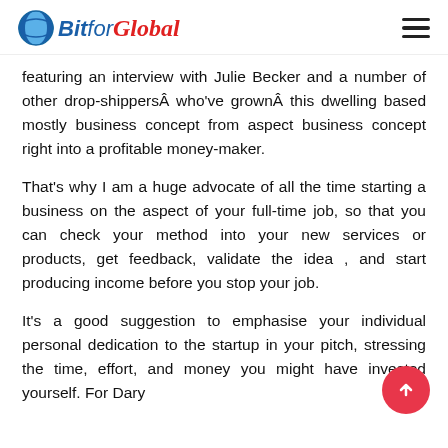BitforGlobal
featuring an interview with Julie Becker and a number of other drop-shippersÂ who've grownÂ this dwelling based mostly business concept from aspect business concept right into a profitable money-maker.
That's why I am a huge advocate of all the time starting a business on the aspect of your full-time job, so that you can check your method into your new services or products, get feedback, validate the idea , and start producing income before you stop your job.
It's a good suggestion to emphasise your individual personal dedication to the startup in your pitch, stressing the time, effort, and money you might have invested yourself. For Dary